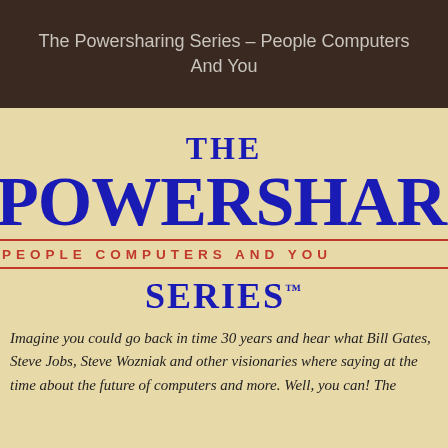The Powersharing Series – People Computers And You
THE POWERSHARING PEOPLE COMPUTERS AND YOU SERIES™
Imagine you could go back in time 30 years and hear what Bill Gates, Steve Jobs, Steve Wozniak and other visionaries where saying at the time about the future of computers and more. Well, you can! The